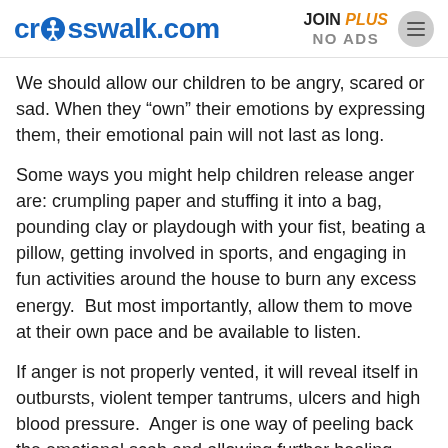crosswalk.com  JOIN PLUS NO ADS
We should allow our children to be angry, scared or sad. When they “own” their emotions by expressing them, their emotional pain will not last as long.
Some ways you might help children release anger are: crumpling paper and stuffing it into a bag, pounding clay or playdough with your fist, beating a pillow, getting involved in sports, and engaging in fun activities around the house to burn any excess energy.  But most importantly, allow them to move at their own pace and be available to listen.
If anger is not properly vented, it will reveal itself in outbursts, violent temper tantrums, ulcers and high blood pressure.  Anger is one way of peeling back the emotional scab and allowing further healing – from the inside.